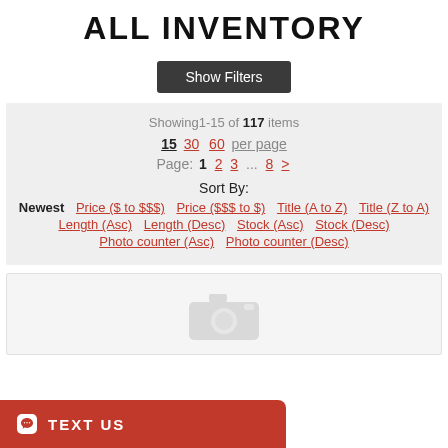ALL INVENTORY
Show Filters
Showing1-15 of 117 items
15  30  60  per page
Page: 1  2  3  ...  8  >
Sort By:
Newest  Price ($ to $$$)  Price ($$$ to $)  Title (A to Z)  Title (Z to A)  Length (Asc)  Length (Desc)  Stock (Asc)  Stock (Desc)  Photo counter (Asc)  Photo counter (Desc)
[Figure (photo): Product placeholder with camera icon]
TEXT US